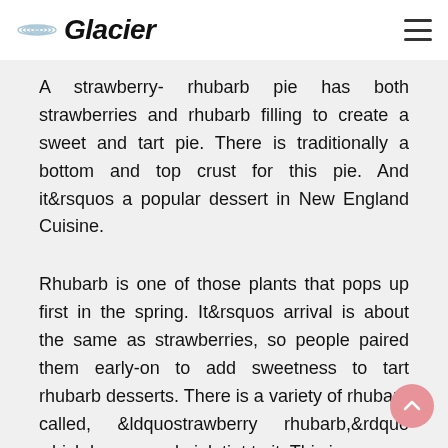Glacier
A strawberry- rhubarb pie has both strawberries and rhubarb filling to create a sweet and tart pie. There is traditionally a bottom and top crust for this pie. And it&rsquos a popular dessert in New England Cuisine.
Rhubarb is one of those plants that pops up first in the spring. It&rsquos arrival is about the same as strawberries, so people paired them early-on to add sweetness to tart rhubarb desserts. There is a variety of rhubarb called, &ldquostrawberry rhubarb,&rdquo which has a good pink tint to it. This is a more